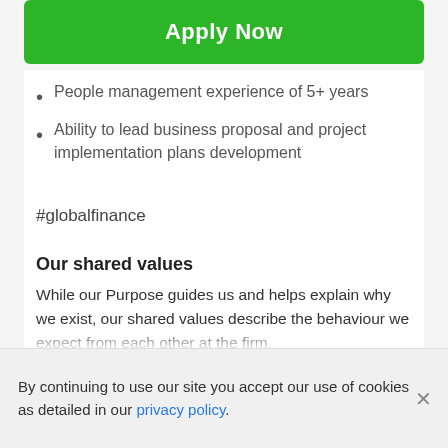Apply Now
People management experience of 5+ years
Ability to lead business proposal and project implementation plans development
#globalfinance
Our shared values
While our Purpose guides us and helps explain why we exist, our shared values describe the behaviour we expect from each other at the firm.
They provide common ground to unite us across cultures and geographies. They help us to earn the trust and
By continuing to use our site you accept our use of cookies as detailed in our privacy policy.